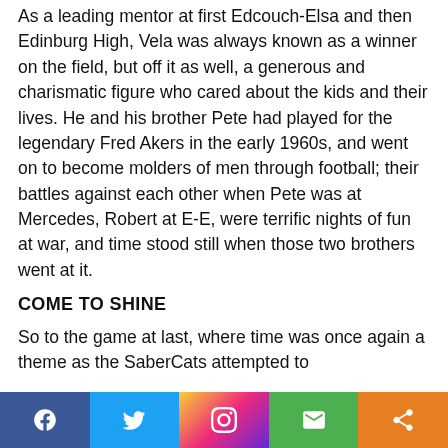As a leading mentor at first Edcouch-Elsa and then Edinburg High, Vela was always known as a winner on the field, but off it as well, a generous and charismatic figure who cared about the kids and their lives. He and his brother Pete had played for the legendary Fred Akers in the early 1960s, and went on to become molders of men through football; their battles against each other when Pete was at Mercedes, Robert at E-E, were terrific nights of fun at war, and time stood still when those two brothers went at it.
COME TO SHINE
So to the game at last, where time was once again a theme as the SaberCats attempted to
[Figure (infographic): Social media sharing bar with five buttons: Facebook (blue), Twitter (light blue), Instagram (gradient), Email/envelope (green), Share (orange)]